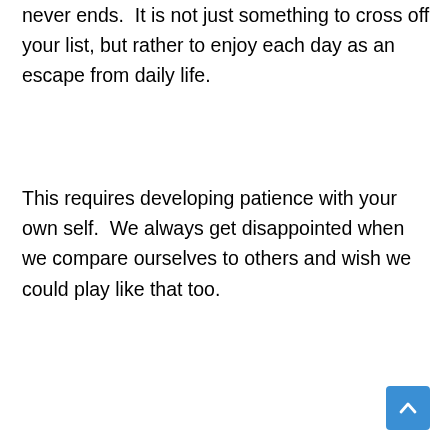never ends.  It is not just something to cross off your list, but rather to enjoy each day as an escape from daily life.
This requires developing patience with your own self.  We always get disappointed when we compare ourselves to others and wish we could play like that too.